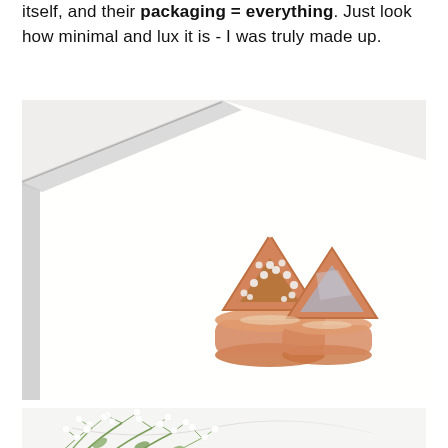itself, and their packaging = everything. Just look how minimal and lux it is - I was truly made up.
[Figure (photo): Close-up photo of two rose gold triangle-shaped rings on a white surface. One ring has crystal/diamond embellishments, the other has a grey stone inlay. The rings are placed on what appears to be a white box or packaging.]
[Figure (photo): Photo of small white delicate flowers (baby's breath / gypsophila) with green stems arranged on a white marble surface.]